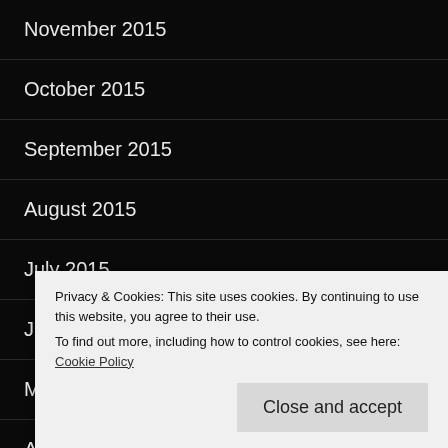November 2015
October 2015
September 2015
August 2015
July 2015
June 2015
May 2015
April 2015
March 2015
Privacy & Cookies: This site uses cookies. By continuing to use this website, you agree to their use.
To find out more, including how to control cookies, see here: Cookie Policy
Close and accept